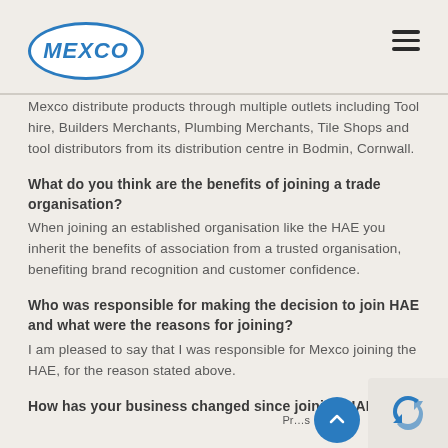MEXCO
Mexco distribute products through multiple outlets including Tool hire, Builders Merchants, Plumbing Merchants, Tile Shops and tool distributors from its distribution centre in Bodmin, Cornwall.
What do you think are the benefits of joining a trade organisation?
When joining an established organisation like the HAE you inherit the benefits of association from a trusted organisation, benefiting brand recognition and customer confidence.
Who was responsible for making the decision to join HAE and what were the reasons for joining?
I am pleased to say that I was responsible for Mexco joining the HAE, for the reason stated above.
How has your business changed since joining HAE?